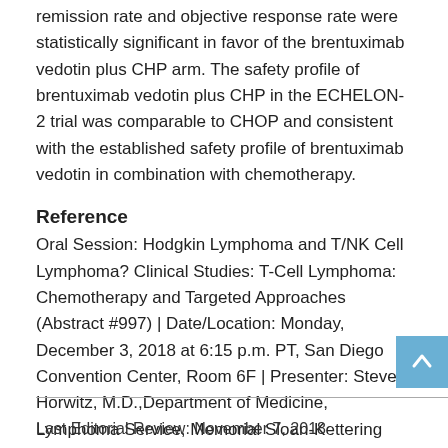remission rate and objective response rate were statistically significant in favor of the brentuximab vedotin plus CHP arm. The safety profile of brentuximab vedotin plus CHP in the ECHELON-2 trial was comparable to CHOP and consistent with the established safety profile of brentuximab vedotin in combination with chemotherapy.
Reference
Oral Session: Hodgkin Lymphoma and T/NK Cell Lymphoma? Clinical Studies: T-Cell Lymphoma: Chemotherapy and Targeted Approaches (Abstract #997) | Date/Location: Monday, December 3, 2018 at 6:15 p.m. PT, San Diego Convention Center, Room 6F | Presenter: Steven Horwitz, M.D.,Department of Medicine, Lymphoma Service, Memorial Sloan-Kettering Cancer Center, New York.
Last Editorial Review: November 7, 2018